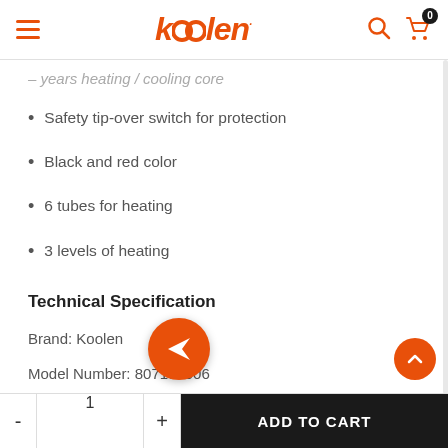koolen (navigation bar with hamburger menu, search icon, cart icon with badge 0)
– years heating / cooling core (partially visible)
Safety tip-over switch for protection
Black and red color
6 tubes for heating
3 levels of heating
Technical Specification
Brand: Koolen
Model Number: 807102006
Rating: 0 v ~ 50-60 Hz (partially visible)
- 1 + ADD TO CART